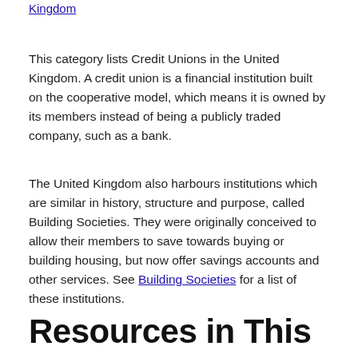Kingdom
This category lists Credit Unions in the United Kingdom. A credit union is a financial institution built on the cooperative model, which means it is owned by its members instead of being a publicly traded company, such as a bank.
The United Kingdom also harbours institutions which are similar in history, structure and purpose, called Building Societies. They were originally conceived to allow their members to save towards buying or building housing, but now offer savings accounts and other services. See Building Societies for a list of these institutions.
Resources in This